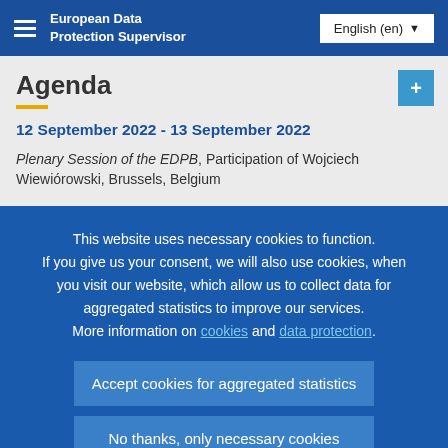European Data Protection Supervisor | English (en)
Agenda
12 September 2022 - 13 September 2022
Plenary Session of the EDPB, Participation of Wojciech Wiewiórowski, Brussels, Belgium
This website uses necessary cookies to function. If you give us your consent, we will also use cookies, when you visit our website, which allow us to collect data for aggregated statistics to improve our services. More information on cookies and data protection.
Accept cookies for aggregated statistics
No thanks, only necessary cookies